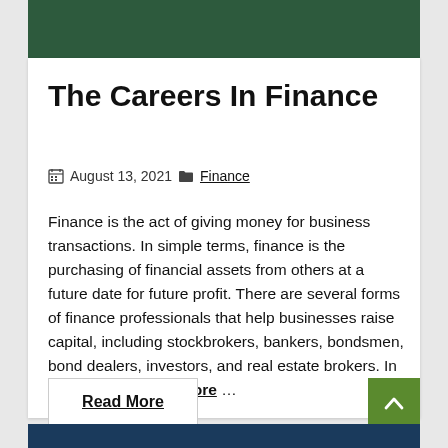The Careers In Finance
August 13, 2021  Finance
Finance is the act of giving money for business transactions. In simple terms, finance is the purchasing of financial assets from others at a future date for future profit. There are several forms of finance professionals that help businesses raise capital, including stockbrokers, bankers, bondsmen, bond dealers, investors, and real estate brokers. In recent years,Read More …
Read More